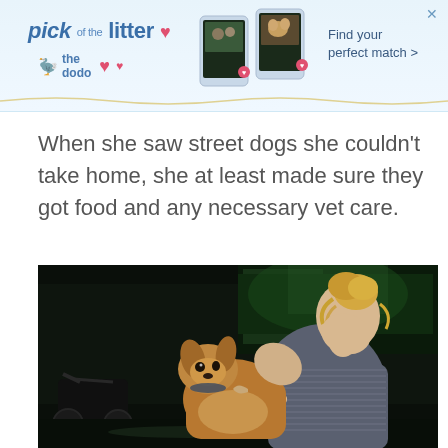[Figure (other): Advertisement banner for 'pick of the litter' by The Dodo with text 'Find your perfect match >' and small phone/pet images]
When she saw street dogs she couldn't take home, she at least made sure they got food and any necessary vet care.
[Figure (photo): Nighttime photo of a blonde woman with hair in a bun kissing or nuzzling a small brown dog she is holding, with motorcycles and green-lit building in background]